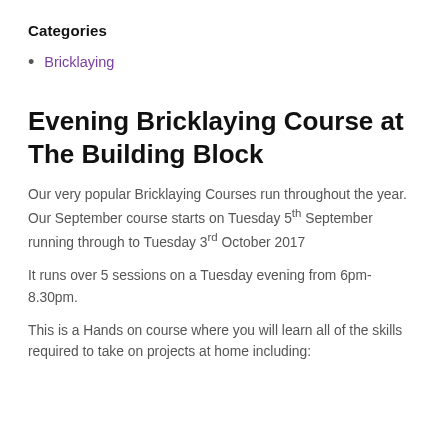Categories
Bricklaying
Evening Bricklaying Course at The Building Block
Our very popular Bricklaying Courses run throughout the year. Our September course starts on Tuesday 5th September running through to Tuesday 3rd October 2017
It runs over 5 sessions on a Tuesday evening from 6pm-8.30pm.
This is a Hands on course where you will learn all of the skills required to take on projects at home including: